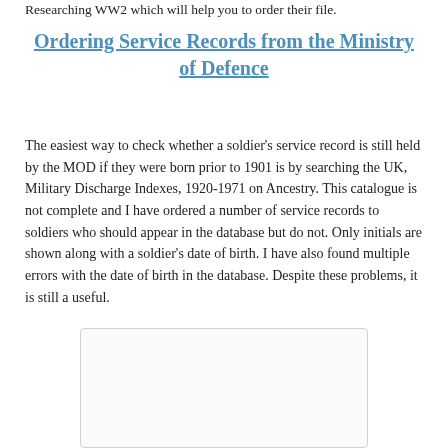Researching WW2 which will help you to order their file.
Ordering Service Records from the Ministry of Defence
The easiest way to check whether a soldier's service record is still held by the MOD if they were born prior to 1901 is by searching the UK, Military Discharge Indexes, 1920-1971 on Ancestry. This catalogue is not complete and I have ordered a number of service records to soldiers who should appear in the database but do not. Only initials are shown along with a soldier's date of birth. I have also found multiple errors with the date of birth in the database. Despite these problems, it is still a useful.
[Figure (other): Empty rounded rectangle placeholder box at the bottom of the page]